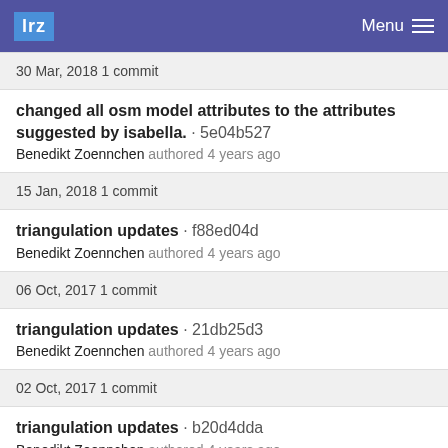lrz  Menu
30 Mar, 2018 1 commit
changed all osm model attributes to the attributes suggested by isabella. · 5e04b527
Benedikt Zoennchen authored 4 years ago
15 Jan, 2018 1 commit
triangulation updates · f88ed04d
Benedikt Zoennchen authored 4 years ago
06 Oct, 2017 1 commit
triangulation updates · 21db25d3
Benedikt Zoennchen authored 4 years ago
02 Oct, 2017 1 commit
triangulation updates · b20d4dda
Benedikt Zoennchen authored 4 years ago